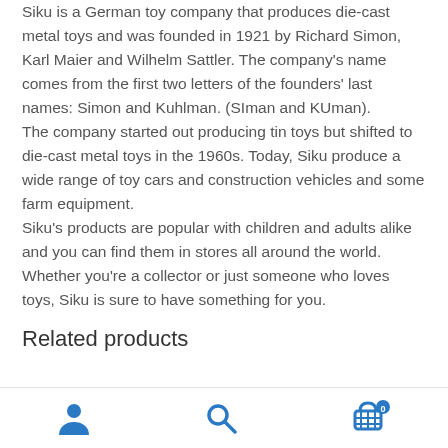Siku is a German toy company that produces die-cast metal toys and was founded in 1921 by Richard Simon, Karl Maier and Wilhelm Sattler. The company's name comes from the first two letters of the founders' last names: Simon and Kuhlman. (SIman and KUman). The company started out producing tin toys but shifted to die-cast metal toys in the 1960s. Today, Siku produce a wide range of toy cars and construction vehicles and some farm equipment. Siku's products are popular with children and adults alike and you can find them in stores all around the world. Whether you're a collector or just someone who loves toys, Siku is sure to have something for you.
Related products
nav icons: user, search, cart